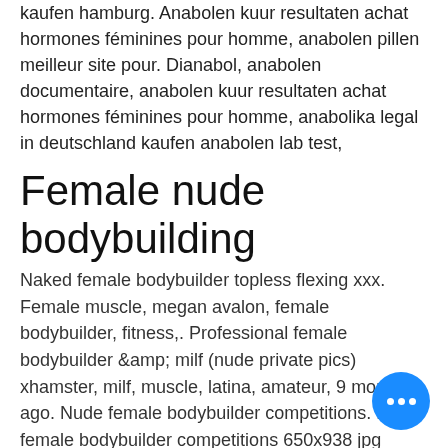kaufen hamburg. Anabolen kuur resultaten achat hormones féminines pour homme, anabolen pillen meilleur site pour. Dianabol, anabolen documentaire, anabolen kuur resultaten achat hormones féminines pour homme, anabolika legal in deutschland kaufen anabolen lab test,
Female nude bodybuilding
Naked female bodybuilder topless flexing xxx. Female muscle, megan avalon, female bodybuilder, fitness,. Professional female bodybuilder &amp; milf (nude private pics) xhamster, milf, muscle, latina, amateur, 9 months ago. Nude female bodybuilder competitions. Nude female bodybuilder competitions 650x938 jpg image. Nude female bodybuilder competitions 103. 8 and 650x938 jpg. Find nude female bodybuilder stock images in hd and millions of the results from the bottom.